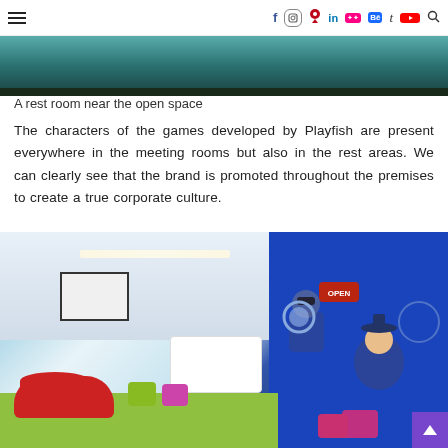≡  f  [instagram]  [pinterest]  in  [flickr]  Bē  t  [youtube]  [search]
[Figure (photo): Top portion of a colorful interior photo, cropped at the top of the page]
A rest room near the open space
The characters of the games developed by Playfish are present everywhere in the meeting rooms but also in the rest areas. We can clearly see that the brand is promoted throughout the premises to create a true corporate culture.
[Figure (photo): Interior of a Playfish office showing a large open space with a bright green floor, a red lip-shaped sofa, colorful stools, white reception counter, a projection screen, recessed ceiling lights, and a vivid blue mural wall featuring cartoon game characters with an OPEN sign]